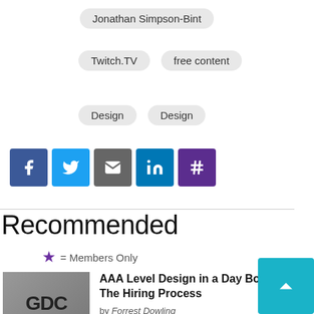Jonathan Simpson-Bint
Twitch.TV
free content
Design
Design
[Figure (other): Social share buttons: Facebook, Twitter, Email, LinkedIn, Hashtag/Xing]
Recommended
★ = Members Only
AAA Level Design in a Day Bootcamp: The Hiring Process by Forrest Dowling
Applying the 5 Domains of Play: Acting Like Players by Jason VandenBerghe
AAA Level Design in a Day Bootcamp: Talking to the...